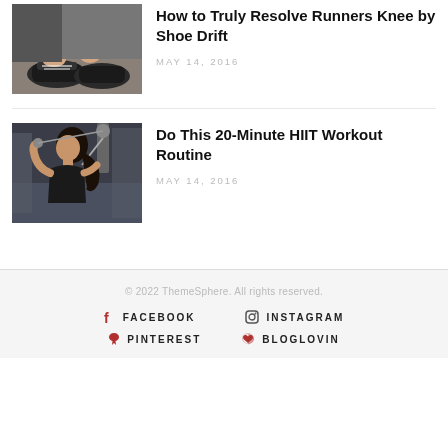[Figure (photo): Person tying running shoes, viewed from above, blue wristband visible]
How to Truly Resolve Runners Knee by Shoe Drift
MAY 14, 2016
[Figure (photo): Woman with dark hair in ponytail doing gym cable exercise]
Do This 20-Minute HIIT Workout Routine
MAY 14, 2016
© 2022 ThemeSphere. All rights reserved.
FACEBOOK  INSTAGRAM  PINTEREST  BLOGLOVIN